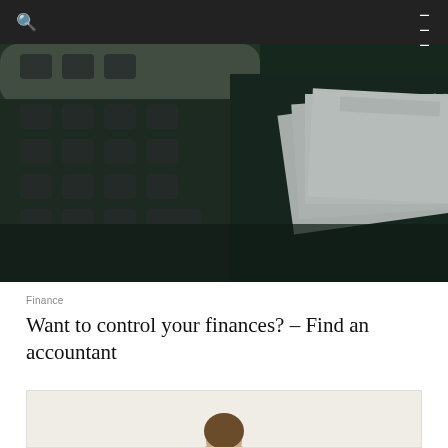[Figure (photo): Close-up photo of a calculator and white papers/envelopes on a dark background]
Finance
Want to control your finances? – Find an accountant
[Figure (photo): Partial preview of a person's photo at the bottom of the page]